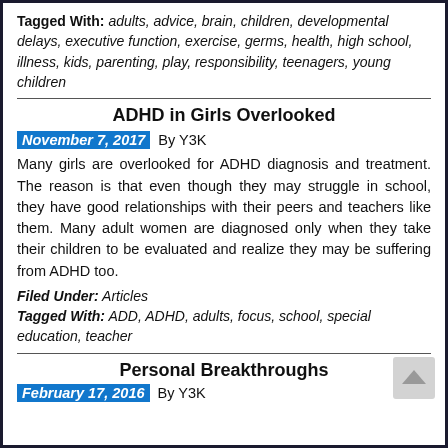Tagged With: adults, advice, brain, children, developmental delays, executive function, exercise, germs, health, high school, illness, kids, parenting, play, responsibility, teenagers, young children
ADHD in Girls Overlooked
November 7, 2017 By Y3K
Many girls are overlooked for ADHD diagnosis and treatment. The reason is that even though they may struggle in school, they have good relationships with their peers and teachers like them. Many adult women are diagnosed only when they take their children to be evaluated and realize they may be suffering from ADHD too.
Filed Under: Articles
Tagged With: ADD, ADHD, adults, focus, school, special education, teacher
Personal Breakthroughs
February 17, 2016 By Y3K